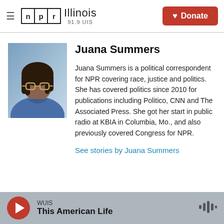NPR Illinois 91.9 UIS | Donate
[Figure (photo): Headshot photo of Juana Summers, a woman wearing glasses and a blue top]
Juana Summers
Juana Summers is a political correspondent for NPR covering race, justice and politics. She has covered politics since 2010 for publications including Politico, CNN and The Associated Press. She got her start in public radio at KBIA in Columbia, Mo., and also previously covered Congress for NPR.
See stories by Juana Summers
WUIS | This American Life